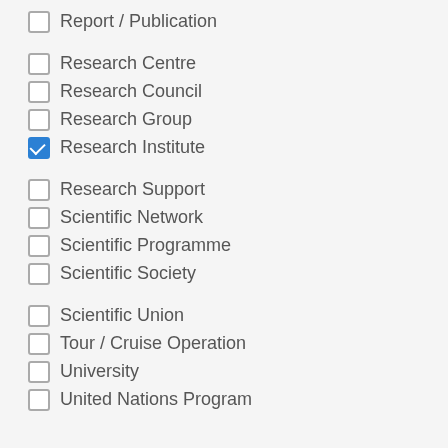Report / Publication
Research Centre
Research Council
Research Group
Research Institute
Research Support
Scientific Network
Scientific Programme
Scientific Society
Scientific Union
Tour / Cruise Operation
University
United Nations Program